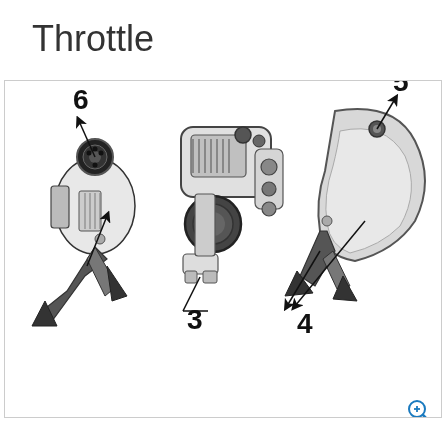Throttle
[Figure (engineering-diagram): Technical engineering diagram of a throttle component shown from three angles/views. The left view shows a front-left perspective with callout number 6 pointing to a round knob/dial element at the top, and callout number pointing upward from the lower section. The center view shows a front perspective of the full throttle assembly with multiple controls. The right view shows the right side profile with callout number 5 pointing to a small button/switch at the top, and callout number 4 pointing to the lower section. Callout number 3 points to the bottom foot/clamp region of the center view. All views show detailed mechanical components including dials, buttons, ridged grips, and mounting hardware. Black and white line drawing style.]